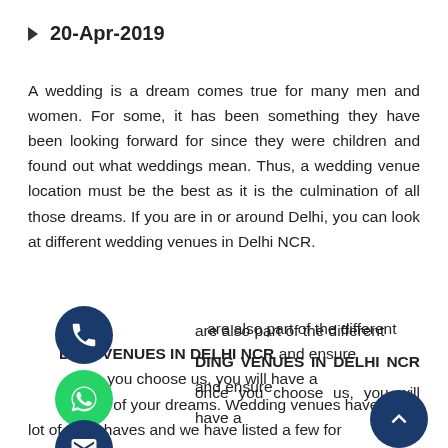20-Apr-2019
A wedding is a dream comes true for many men and women. For some, it has been something they have been looking forward for since they were children and found out what weddings mean. Thus, a wedding venue location must be the best as it is the culmination of all those dreams. If you are in or around Delhi, you can look at different wedding venues in Delhi NCR.
are also part of the different WEDDING VENUES IN DELHI NCR and ensure that once you choose us, you will have a wedding of your dreams. Wedding venues have a lot of must haves and we have listed a few for here below and something that we offer as